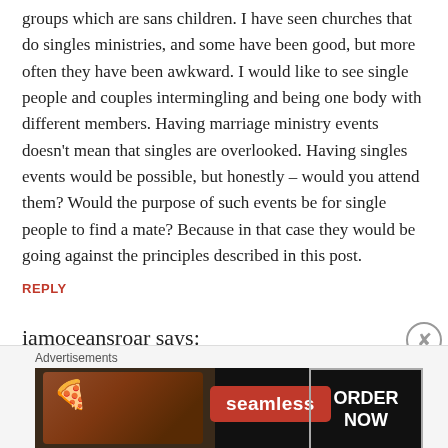groups which are sans children. I have seen churches that do singles ministries, and some have been good, but more often they have been awkward. I would like to see single people and couples intermingling and being one body with different members. Having marriage ministry events doesn't mean that singles are overlooked. Having singles events would be possible, but honestly – would you attend them? Would the purpose of such events be for single people to find a mate? Because in that case they would be going against the principles described in this post.
REPLY
iamoceansroar says:
August 25, 2016 at 11:28 am
[Figure (other): Seamless food delivery advertisement banner with pizza image on left, red Seamless logo in center, and ORDER NOW button on right, on dark background. Above it reads 'Advertisements'.]